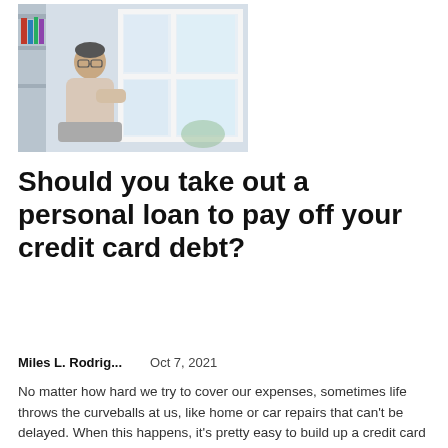[Figure (photo): A man wearing glasses and a light t-shirt sits by a bright window with white frames, looking down at papers or a device, with shelves visible in the background.]
Should you take out a personal loan to pay off your credit card debt?
Miles L. Rodrig...    Oct 7, 2021
No matter how hard we try to cover our expenses, sometimes life throws the curveballs at us, like home or car repairs that can't be delayed. When this happens, it's pretty easy to build up a credit card balance.If you owe money on your...